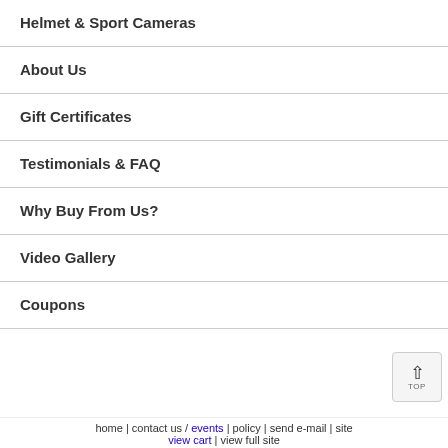Helmet & Sport Cameras
About Us
Gift Certificates
Testimonials & FAQ
Why Buy From Us?
Video Gallery
Coupons
home | contact us / events | policy | send e-mail | site… view cart | view full site